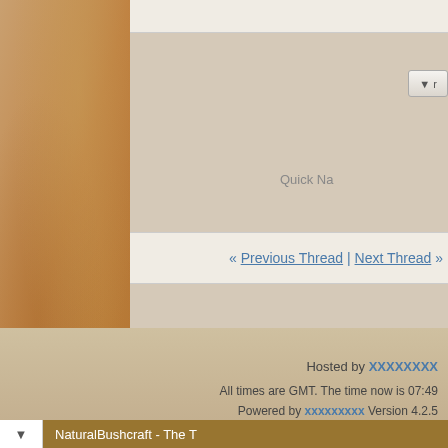Quick Na
« Previous Thread | Next Thread »
Posting Permissions
You may not post new threads
You may not post replies
You may not post attachments
You may not edit your posts
BB code is On
Smilies are On
[IMG] code is On
[VIDEO] code is On
HTML code is Off
Forum Rules
NaturalBushcraft - The T
Hosted by XXXXXXX
All times are GMT. The time now is 07:49
Powered by xxxxxxxx Version 4.2.5